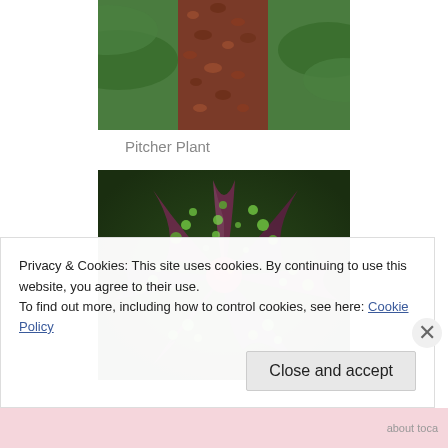[Figure (photo): Close-up of a spotted plant stem or trunk with mottled red-brown and green coloring, with green leaves in background]
Pitcher Plant
[Figure (photo): Close-up top-down view of a pitcher plant showing dark reddish-purple leaves with green spots radiating outward from a central red bud]
Privacy & Cookies: This site uses cookies. By continuing to use this website, you agree to their use.
To find out more, including how to control cookies, see here: Cookie Policy
about toca